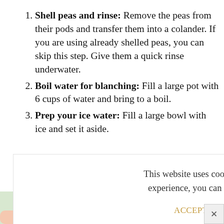Shell peas and rinse: Remove the peas from their pods and transfer them into a colander. If you are using already shelled peas, you can skip this step. Give them a quick rinse underwater.
Boil water for blanching: Fill a large pot with 6 cups of water and bring to a boil.
Prep your ice water: Fill a large bowl with ice and set it aside.
This website uses cookies to improve your experience, you can opt-out if you wish.
ACCEPT   Cookie Settings
[Figure (photo): Photo of peas in a colander or bowl, green peas and white peas visible]